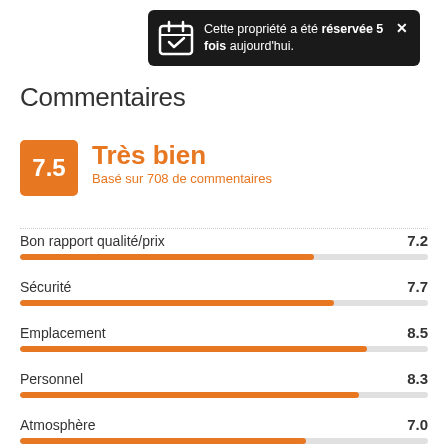[Figure (infographic): Dark tooltip/notification banner: 'Cette propriété a été réservée 5 fois aujourd'hui.' with a calendar icon and close button X]
Commentaires
7.5 Très bien – Basé sur 708 de commentaires
[Figure (bar-chart): Scores by category]